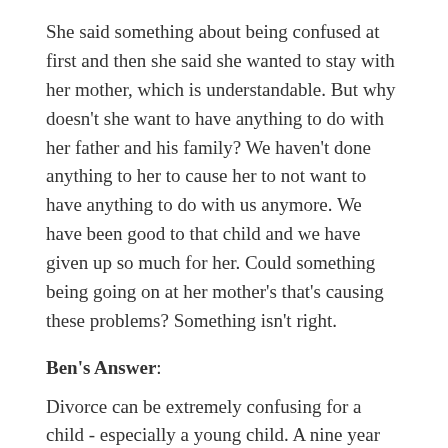She said something about being confused at first and then she said she wanted to stay with her mother, which is understandable. But why doesn't she want to have anything to do with her father and his family? We haven't done anything to her to cause her to not want to have anything to do with us anymore. We have been good to that child and we have given up so much for her. Could something being going on at her mother's that's causing these problems? Something isn't right.
Ben's Answer:
Divorce can be extremely confusing for a child - especially a young child. A nine year old is just moving into a new phase of independence and identity. By ten, most kids start to lose their childhood